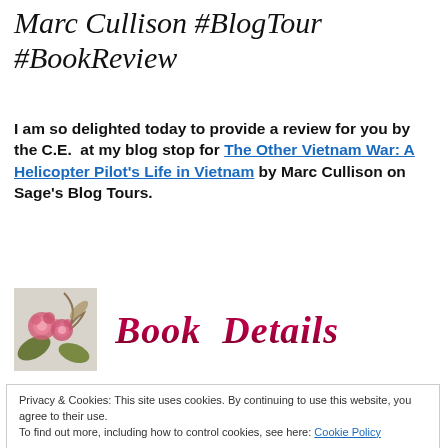Marc Cullison #BlogTour #BookReview
I am so delighted today to provide a review for you by the C.E. at my blog stop for The Other Vietnam War: A Helicopter Pilot's Life in Vietnam by Marc Cullison on Sage's Blog Tours.
[Figure (illustration): Flower image with pink roses and a dried leaf, next to a 'Book Details' cursive script logo]
Privacy & Cookies: This site uses cookies. By continuing to use this website, you agree to their use. To find out more, including how to control cookies, see here: Cookie Policy
ISBN-10: 0990840303